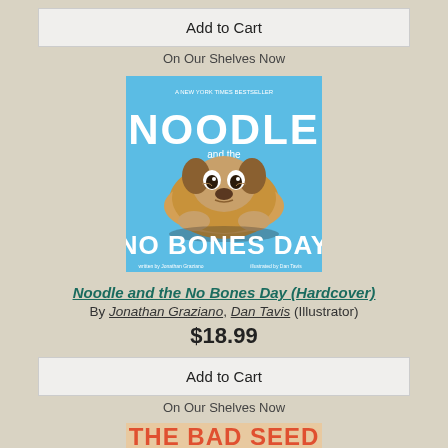Add to Cart
On Our Shelves Now
[Figure (photo): Book cover of 'Noodle and the No Bones Day' showing a cute pug dog nestled in a fluffy round nest against a blue background with white text]
Noodle and the No Bones Day (Hardcover)
By Jonathan Graziano, Dan Tavis (Illustrator)
$18.99
Add to Cart
On Our Shelves Now
[Figure (photo): Book cover of 'The Bad Seed' showing a menacing sunflower seed character with an angry face in front of a city background with orange-red title text]